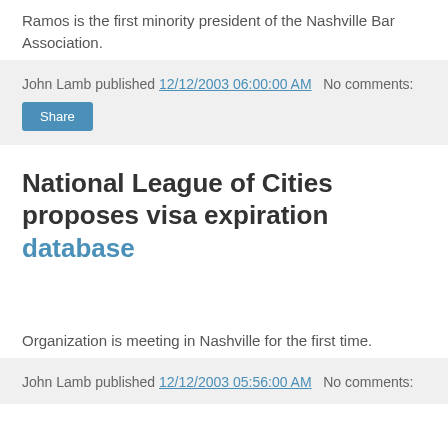Ramos is the first minority president of the Nashville Bar Association.
John Lamb published 12/12/2003 06:00:00 AM   No comments:
National League of Cities proposes visa expiration database
Organization is meeting in Nashville for the first time.
John Lamb published 12/12/2003 05:56:00 AM   No comments: